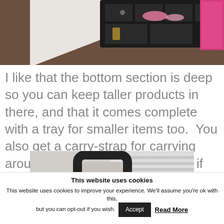[Figure (photo): Top portion of a photo showing a jewelry/makeup organizer box with compartments, a pink tray visible on the right, on a brown surface.]
I like that the bottom section is deep so you can keep taller products in there, and that it comes complete with a tray for smaller items too.  You also get a carry-strap for carrying around the top section as a case if you so wanted.
[Figure (photo): Partial photo showing a dark carry handle/strap of a case, with a blurred window blind background.]
This website uses cookies
This website uses cookies to improve your experience. We'll assume you're ok with this, but you can opt-out if you wish.